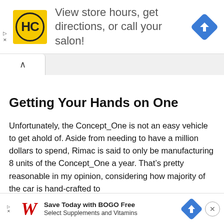[Figure (infographic): Top advertisement banner for HC (Hair Club) salon with yellow square logo showing HC in circle, text reading 'View store hours, get directions, or call your salon!' and a blue navigation arrow diamond icon on the right]
[Figure (infographic): Browser tab UI element showing an up-arrow caret (^) tab on a grey tab bar]
Getting Your Hands on One
Unfortunately, the Concept_One is not an easy vehicle to get ahold of. Aside from needing to have a million dollars to spend, Rimac is said to only be manufacturing 8 units of the Concept_One a year. That's pretty reasonable in my opinion, considering how majority of the car is hand-crafted to perfec
[Figure (infographic): Bottom advertisement banner for Walgreens with red italic W logo, text 'Save Today with BOGO Free Select Supplements and Vitamins', blue navigation arrow diamond icon, and X close button]